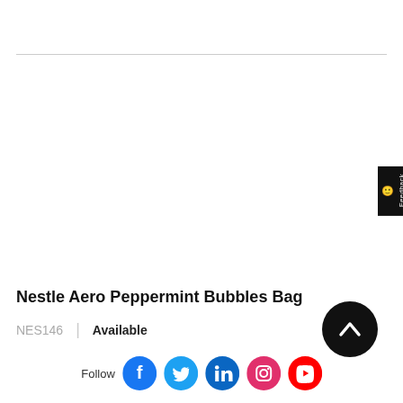Nestle Aero Peppermint Bubbles Bag
NES146  |  Available
[Figure (other): Feedback tab on right side with smiley icon]
[Figure (other): Scroll to top button - dark circle with upward chevron]
Follow